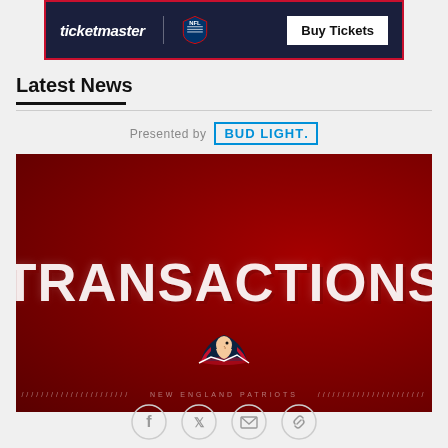[Figure (other): Ticketmaster / NFL Buy Tickets advertisement banner with dark navy background and red border]
Latest News
Presented by BUD LIGHT.
[Figure (other): New England Patriots Transactions promotional image: dark red/crimson background with large white bold text TRANSACTIONS and Patriots logo below]
[Figure (other): Social share icons: Facebook, Twitter, Email, Link]